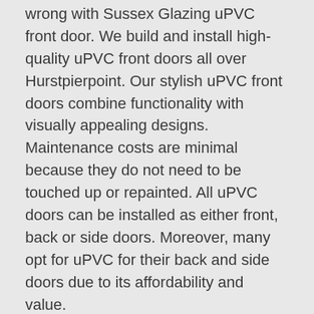wrong with Sussex Glazing uPVC front door. We build and install high-quality uPVC front doors all over Hurstpierpoint. Our stylish uPVC front doors combine functionality with visually appealing designs. Maintenance costs are minimal because they do not need to be touched up or repainted. All uPVC doors can be installed as either front, back or side doors. Moreover, many opt for uPVC for their back and side doors due to its affordability and value.
Patio Doors
Patio doors provide excellent access to your garden as well as letting light shine into your home. Whether you need it for a living room, balcony, or